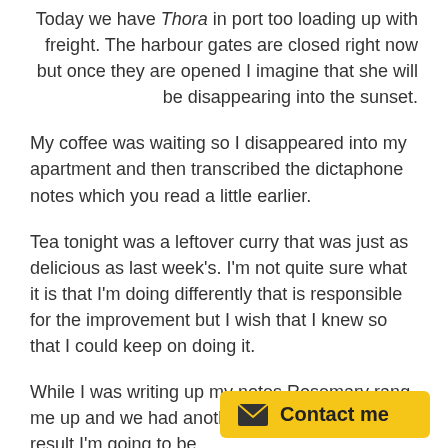Today we have Thora in port too loading up with freight. The harbour gates are closed right now but once they are opened I imagine that she will be disappearing into the sunset.
My coffee was waiting so I disappeared into my apartment and then transcribed the dictaphone notes which you read a little earlier.
Tea tonight was a leftover curry that was just as delicious as last week's. I'm not quite sure what it is that I'm doing differently that is responsible for the improvement but I wish that I knew so that I could keep on doing it.
While I was writing up my notes Rosemary rang me up and we had another long chat, and as a result I'm going to be